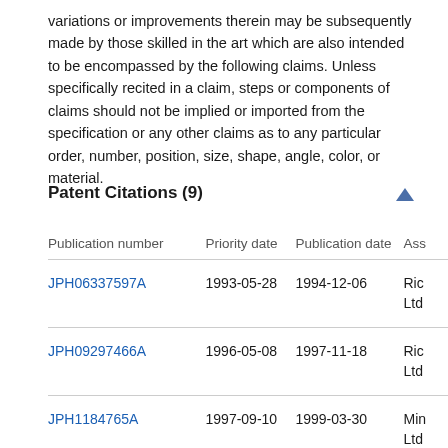variations or improvements therein may be subsequently made by those skilled in the art which are also intended to be encompassed by the following claims. Unless specifically recited in a claim, steps or components of claims should not be implied or imported from the specification or any other claims as to any particular order, number, position, size, shape, angle, color, or material.
Patent Citations (9)
| Publication number | Priority date | Publication date | Ass |
| --- | --- | --- | --- |
| JPH06337597A | 1993-05-28 | 1994-12-06 | Ric
Ltd |
| JPH09297466A | 1996-05-08 | 1997-11-18 | Ric
Ltd |
| JPH1184765A | 1997-09-10 | 1999-03-30 | Min
Ltd |